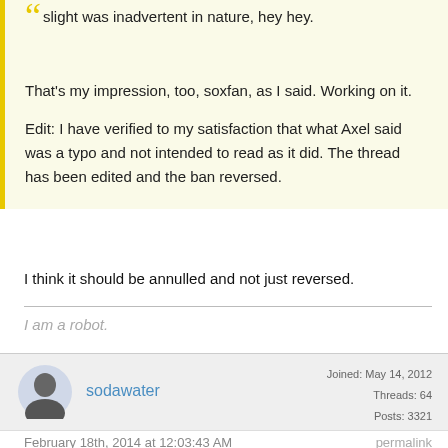slight was inadvertent in nature, hey hey.
That's my impression, too, soxfan, as I said. Working on it.

Edit: I have verified to my satisfaction that what Axel said was a typo and not intended to read as it did. The thread has been edited and the ban reversed.
I think it should be annulled and not just reversed.
I am a robot.
sodawater
Joined: May 14, 2012
Threads: 64
Posts: 3321
February 18th, 2014 at 12:03:43 AM
permalink
Why is it a personal insult to say someone has a psychological...